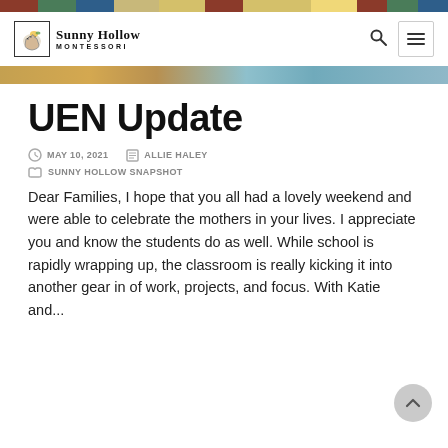Sunny Hollow MONTESSORI
UEN Update
MAY 10, 2021   ALLIE HALEY
SUNNY HOLLOW SNAPSHOT
Dear Families, I hope that you all had a lovely weekend and were able to celebrate the mothers in your lives. I appreciate you and know the students do as well. While school is rapidly wrapping up, the classroom is really kicking it into another gear in of work, projects, and focus. With Katie and...